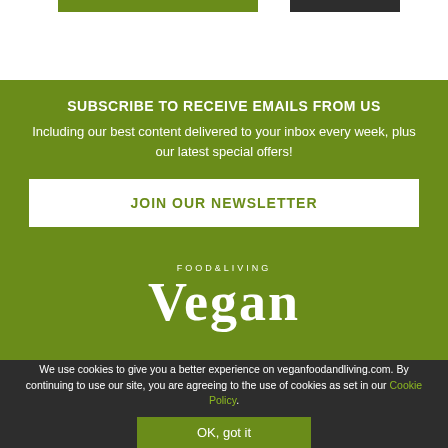[Figure (logo): Top navigation bar with green and dark tab elements on white background]
SUBSCRIBE TO RECEIVE EMAILS FROM US
Including our best content delivered to your inbox every week, plus our latest special offers!
JOIN OUR NEWSLETTER
[Figure (logo): Vegan Food & Living logo in white text on green background]
We use cookies to give you a better experience on veganfoodandliving.com. By continuing to use our site, you are agreeing to the use of cookies as set in our Cookie Policy.
OK, got it